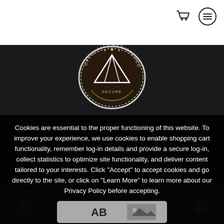[Figure (logo): Shopping cart icon and hamburger menu icon in top right header]
[Figure (logo): Officially Registered badge/seal logo with tent icon in center of dark background]
Cookies are essential to the proper functioning of this website. To improve your experience, we use cookies to enable shopping cart functionality, remember log-in details and provide a secure log-in, collect statistics to optimize site functionality, and deliver content tailored to your interests. Click "Accept" to accept cookies and go directly to the site, or click on "Learn More" to learn more about our Privacy Policy before accepting.
Got it!
[Figure (logo): Footer with social media icons: Facebook, Twitter/bird, AB logo, mountain/image icon, and LinkedIn]